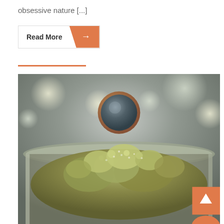obsessive nature [...]
Read More →
[Figure (photo): Close-up photo of dried cannabis buds in a glass jar, bokeh background with soft light spots. An orange-and-dark circular logo/avatar overlay appears in the upper center of the image. An orange 'back to top' button with an upward arrow is visible in the bottom right corner.]